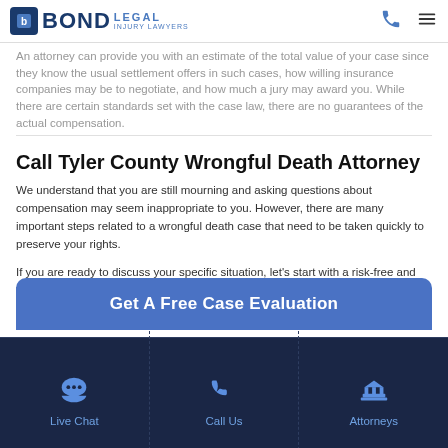BOND LEGAL INJURY LAWYERS
An attorney can provide you with an estimate of the total value of your case since they know the usual settlement offers in such cases, how willing insurance companies may be to negotiate, and how much a jury may award you. While there are certain standards set with the case law, there are no guarantees of the actual compensation.
Call Tyler County Wrongful Death Attorney
We understand that you are still mourning and asking questions about compensation may seem inappropriate to you. However, there are many important steps related to a wrongful death case that need to be taken quickly to preserve your rights.
If you are ready to discuss your specific situation, let's start with a risk-free and free-of-charge initial consultation by phone. You can reach us out at 866-883-7127.
Get A Free Case Evaluation
Live Chat | Call Us | Attorneys